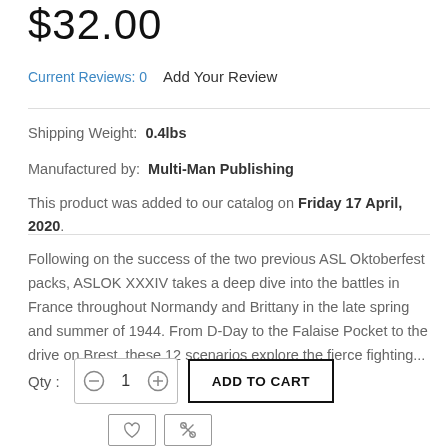$32.00
Current Reviews: 0    Add Your Review
Shipping Weight:  0.4lbs
Manufactured by:  Multi-Man Publishing
This product was added to our catalog on Friday 17 April, 2020.
Following on the success of the two previous ASL Oktoberfest packs, ASLOK XXXIV takes a deep dive into the battles in France throughout Normandy and Brittany in the late spring and summer of 1944. From D-Day to the Falaise Pocket to the drive on Brest, these 12 scenarios explore the fierce fighting...
Qty : 1  ADD TO CART